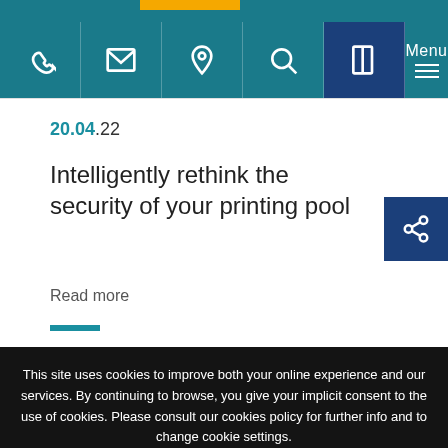[Figure (screenshot): Website navigation header bar with teal background containing icons for phone, email, location, search, brochure, and a menu button on dark navy background. An orange accent bar appears at top center.]
20.04.22
Intelligently rethink the security of your printing pool
Read more
This site uses cookies to improve both your online experience and our services. By continuing to browse, you give your implicit consent to the use of cookies. Please consult our cookies policy for further info and to change cookie settings.
I AGREE
CUSTOMISE